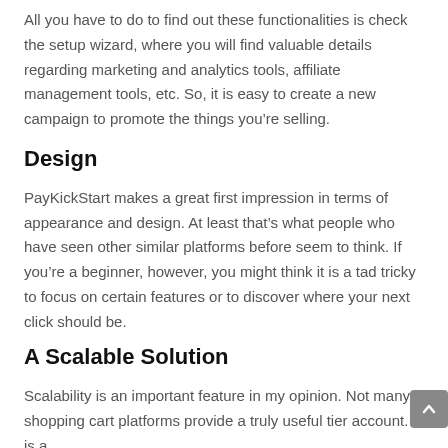All you have to do to find out these functionalities is check the setup wizard, where you will find valuable details regarding marketing and analytics tools, affiliate management tools, etc. So, it is easy to create a new campaign to promote the things you're selling.
Design
PayKickStart makes a great first impression in terms of appearance and design. At least that's what people who have seen other similar platforms before seem to think. If you're a beginner, however, you might think it is a tad tricky to focus on certain features or to discover where your next click should be.
A Scalable Solution
Scalability is an important feature in my opinion. Not many shopping cart platforms provide a truly useful tier account. It is a